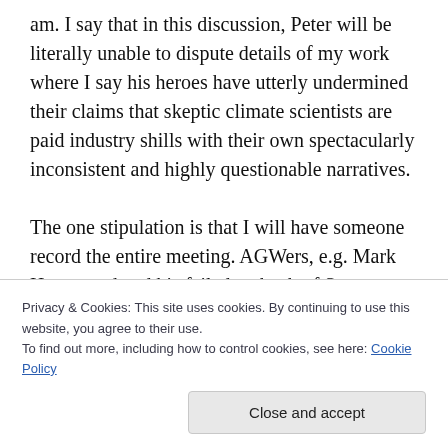am. I say that in this discussion, Peter will be literally unable to dispute details of my work where I say his heroes have utterly undermined their claims that skeptic climate scientists are paid industry shills with their own spectacularly inconsistent and highly questionable narratives.

The one stipulation is that I will have someone record the entire meeting. AGWers, e.g. Mark Hertsgaard and his failed ambush of Senator Inhofe, are known for presenting material that is
Privacy & Cookies: This site uses cookies. By continuing to use this website, you agree to their use.
To find out more, including how to control cookies, see here: Cookie Policy